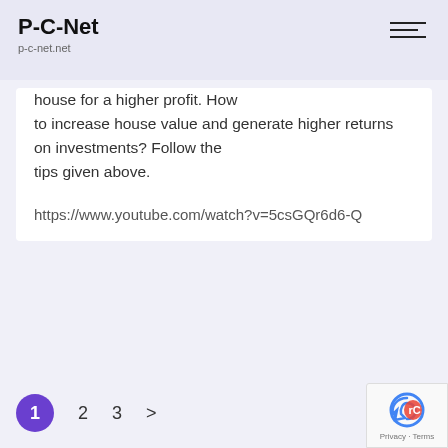P-C-Net
p-c-net.net
house for a higher profit. How to increase house value and generate higher returns on investments? Follow the tips given above.
https://www.youtube.com/watch?v=5csGQr6d6-Q
1  2  3  >